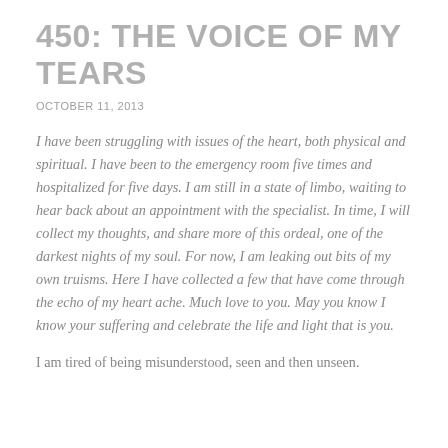450: THE VOICE OF MY TEARS
OCTOBER 11, 2013
I have been struggling with issues of the heart, both physical and spiritual. I have been to the emergency room five times and hospitalized for five days. I am still in a state of limbo, waiting to hear back about an appointment with the specialist. In time, I will collect my thoughts, and share more of this ordeal, one of the darkest nights of my soul. For now, I am leaking out bits of my own truisms. Here I have collected a few that have come through the echo of my heart ache. Much love to you. May you know I know your suffering and celebrate the life and light that is you.
I am tired of being misunderstood, seen and then unseen.